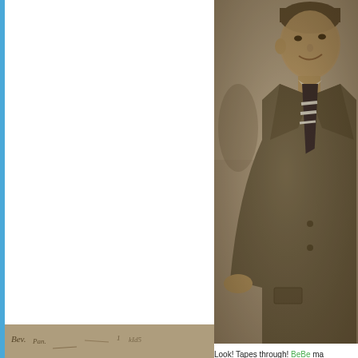[Figure (photo): Sepia-toned vintage photograph of a smiling young man in a suit with striped tie, cropped to show upper body, positioned on the right side of the page]
Look! Tapes through! BeBe ma
[Figure (photo): Bottom strip showing a partial vintage handwritten or old photograph strip, sepia toned, showing faint text and imagery]